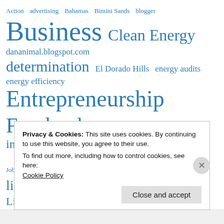[Figure (infographic): Tag cloud with words in varying sizes in blue: Action, advertising, Bahamas, Bimini Sands, blogger, Business, Clean Energy, dananimal.blogspot.com, determination, El Dorado Hills, energy audits, energy efficiency, Entrepreneurship, Facebook, Family, Herr Family, inbound marketing, Jobs, Lake Tahoe, Lean Startup, Lessons, lifestyle, linkedin, Living in Reno, Logan, Logan Herr, marketing, Nevada, Reno, social media]
Privacy & Cookies: This site uses cookies. By continuing to use this website, you agree to their use. To find out more, including how to control cookies, see here: Cookie Policy
Close and accept